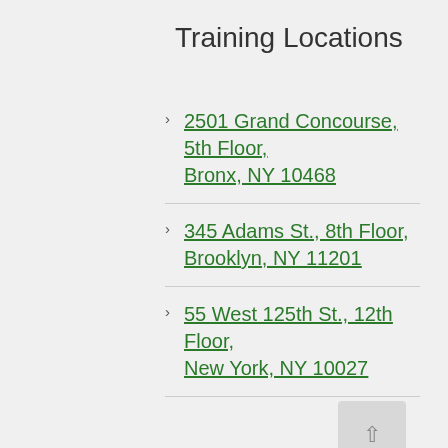Training Locations
2501 Grand Concourse, 5th Floor, Bronx, NY 10468
345 Adams St., 8th Floor, Brooklyn, NY 11201
55 West 125th St., 12th Floor, New York, NY 10027
61 Broadway, Third Floor, New York, NY 10006